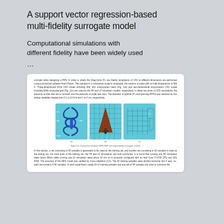A support vector regression-based multi-fidelity surrogate model
Computational simulations with different fidelity have been widely used …
[Figure (illustration): Document card showing CFD simulation text and three panel figure comparing MFS-RBF and single-fidelity surrogate models showing fluid dynamics meshes and flow visualizations]
Figure 11 Comparison between MFS-RBF and single-fidelity surrogate models